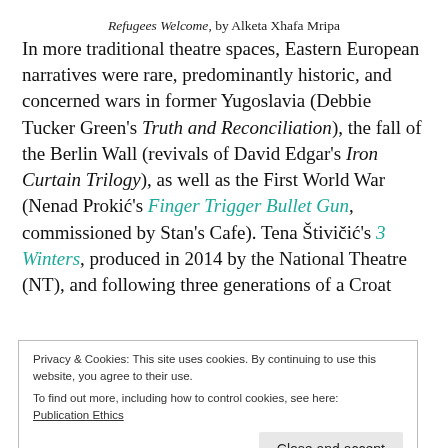Refugees Welcome, by Alketa Xhafa Mripa
In more traditional theatre spaces, Eastern European narratives were rare, predominantly historic, and concerned wars in former Yugoslavia (Debbie Tucker Green's Truth and Reconciliation), the fall of the Berlin Wall (revivals of David Edgar's Iron Curtain Trilogy), as well as the First World War (Nenad Prokić's Finger Trigger Bullet Gun, commissioned by Stan's Cafe). Tena Štivičić's 3 Winters, produced in 2014 by the National Theatre (NT), and following three generations of a Croat
Privacy & Cookies: This site uses cookies. By continuing to use this website, you agree to their use.
To find out more, including how to control cookies, see here:
Publication Ethics
couple in England. As a result, Eastern Europeans